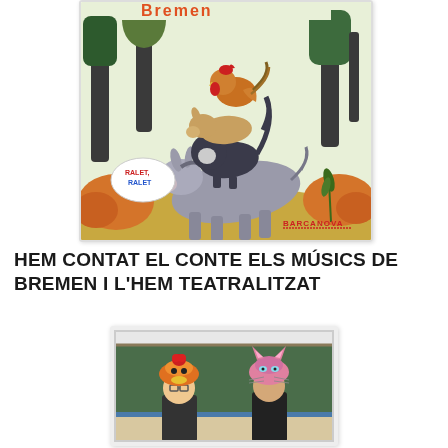[Figure (illustration): Book cover of 'Els Músics de Bremen' published by Barcanova (Ralet, Ralet series). Illustrated children's book cover showing stacked animals — donkey, goat, cat, and rooster — in a forest setting. Colorful cartoon illustration.]
HEM CONTAT EL CONTE ELS MÚSICS DE BREMEN I L'HEM TEATRALITZAT
[Figure (photo): Photograph of two children wearing animal costume hats (rooster and cat hats) standing in front of a blackboard, related to the theatrical performance of Els Músics de Bremen.]